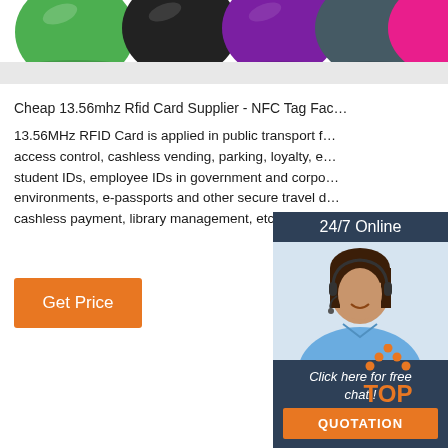[Figure (illustration): Row of colored circular RFID/NFC tags/buttons in green, black, purple, dark teal, pink/magenta, and orange, shown from above with slight shadows.]
Cheap 13.56mhz Rfid Card Supplier - NFC Tag Fac... 13.56MHz RFID Card is applied in public transport f... access control, cashless vending, parking, loyalty, e... student IDs, employee IDs in government and corpo... environments, e-passports and other secure travel d... cashless payment, library management, etc.
[Figure (photo): Customer service agent woman smiling wearing headset, with '24/7 Online' label above and 'Click here for free chat!' text below, and an orange QUOTATION button.]
[Figure (logo): Orange 'TOP' text logo with orange dot triangle above the letters.]